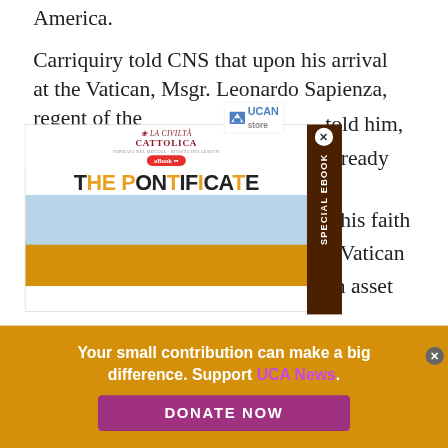America.
Carriquiry told CNS that upon his arrival at the Vatican, Msgr. Leonardo Sapienza, regent of the told him, already his faith e Vatican an asset
[Figure (screenshot): La Civilta Cattolica eBook popup showing 'THE PONTIFICATE' book cover with St. Peter's Basilica dome, with UCAN Store logo and 'SPECIAL EBOOK' sidebar in dark brown]
Your small contribution can make a big difference. Support UCA News.
DONATE NOW